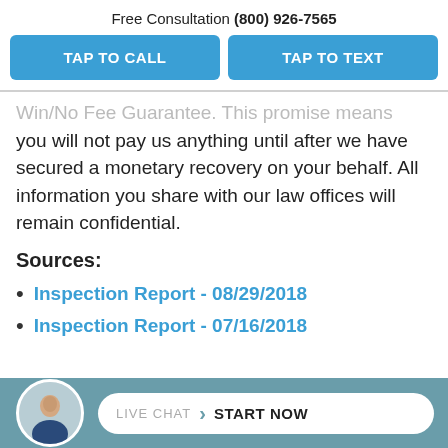Free Consultation (800) 926-7565
TAP TO CALL | TAP TO TEXT
Win/No Fee Guarantee. This promise means you will not pay us anything until after we have secured a monetary recovery on your behalf. All information you share with our law offices will remain confidential.
Sources:
Inspection Report - 08/29/2018
Inspection Report - 07/16/2018
[Figure (photo): Live chat widget with attorney avatar and START NOW button on teal background]